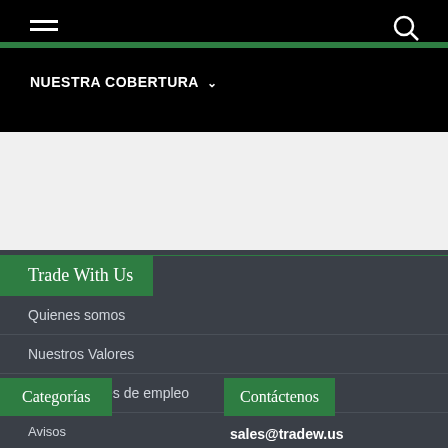NUESTRA COBERTURA
Trade With Us
Quienes somos
Nuestros Valores
Oportunidades de empleo
Categorías
Contáctenos
Avisos
sales@tradew.us